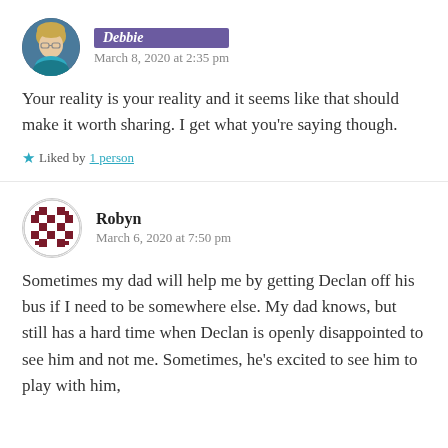[Figure (photo): Circular avatar photo of Debbie, a woman with blonde hair and glasses wearing a teal/blue garment]
Debbie
March 8, 2020 at 2:35 pm
Your reality is your reality and it seems like that should make it worth sharing. I get what you're saying though.
Liked by 1 person
[Figure (illustration): Circular avatar with a decorative checkerboard/geometric pattern in dark red/maroon and white for Robyn]
Robyn
March 6, 2020 at 7:50 pm
Sometimes my dad will help me by getting Declan off his bus if I need to be somewhere else. My dad knows, but still has a hard time when Declan is openly disappointed to see him and not me. Sometimes, he's excited to see him to play with him,